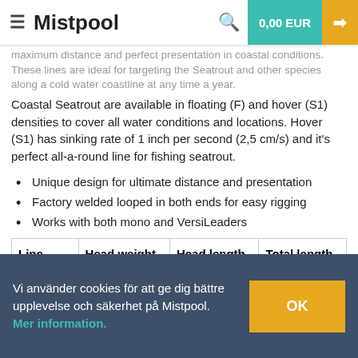≡ Mistpool  Q  0,00 EUR →
maximum distance and perfect presentation in coastal conditions. These lines are ideal for targeting the Seatrout and other species along a cold water coastline at any time a year.
Coastal Seatrout are available in floating (F) and hover (S1) densities to cover all water conditions and locations. Hover (S1) has sinking rate of 1 inch per second (2,5 cm/s) and it's perfect all-a-round line for fishing seatrout.
Unique design for ultimate distance and presentation
Factory welded looped in both ends for easy rigging
Works with both mono and VersiLeaders
| Line | Head weight | Head length | Total length |
| --- | --- | --- | --- |
| WF-5-S1 | 14 gram | 8.8 m | 30.5 m |
Vi använder cookies för att ge dig bättre upplevelse och säkerhet på Mistpool. Mer information.